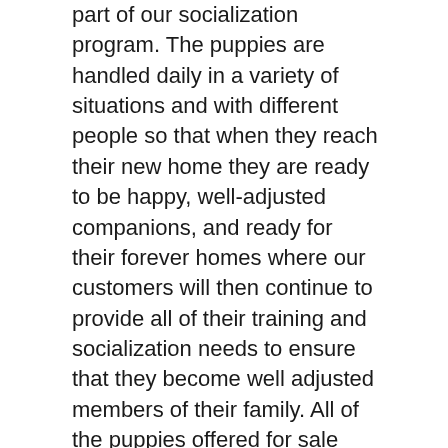part of our socialization program. The puppies are handled daily in a variety of situations and with different people so that when they reach their new home they are ready to be happy, well-adjusted companions, and ready for their forever homes where our customers will then continue to provide all of their training and socialization needs to ensure that they become well adjusted members of their family. All of the puppies offered for sale through our licensed facility have been examined by a minimum of two licensed veterinarians prior to being offered for sale. Every puppy we sell is certified by a licensed veterinarian as “fit for sale”. In addition, each puppy receives age appropriate vaccinations and parasite control treatment.
Our veterinarian is on call and visits us often to assist us in maintaining our state of the art facility where our puppies are our utmost concern. Each puppy is